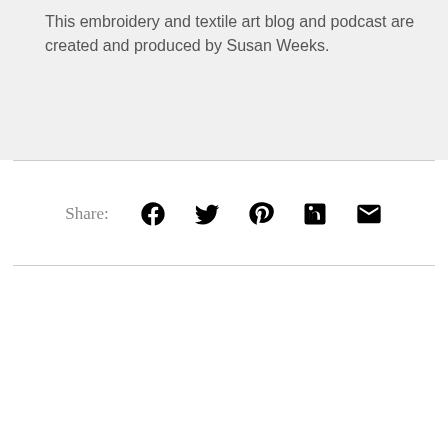This embroidery and textile art blog and podcast are created and produced by Susan Weeks.
Share: